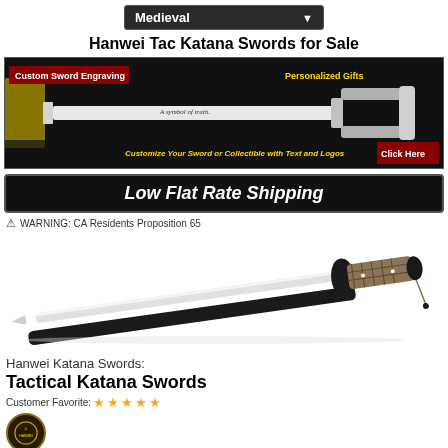[Figure (screenshot): Dropdown menu bar showing 'Medieval' with down arrow]
Hanwei Tac Katana Swords for Sale
[Figure (photo): Banner ad: Custom Sword Engraving – Personalized Gifts. Customize Your Sword or Collectible with Text and Logos. Click Here.]
[Figure (photo): Low Flat Rate Shipping banner]
⚠ WARNING: CA Residents Proposition 65
[Figure (photo): Product photo of Hanwei Tactical Katana sword, black scabbard with tan/olive wrapping]
Hanwei Katana Swords:
Tactical Katana Swords
Customer Favorite: ★★★★★
[Figure (logo): Circular gold/brown logo emblem at bottom left]